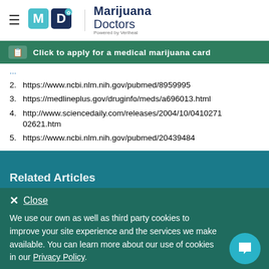Marijuana Doctors — Powered by Veriheal
Click to apply for a medical marijuana card
2. https://www.ncbi.nlm.nih.gov/pubmed/8959995
3. https://medlineplus.gov/druginfo/meds/a696013.html
4. http://www.sciencedaily.com/releases/2004/10/04102710 2621.htm
5. https://www.ncbi.nlm.nih.gov/pubmed/20439484
Related Articles
Close
We use our own as well as third party cookies to improve your site experience and the services we make available. You can learn more about our use of cookies in our Privacy Policy.